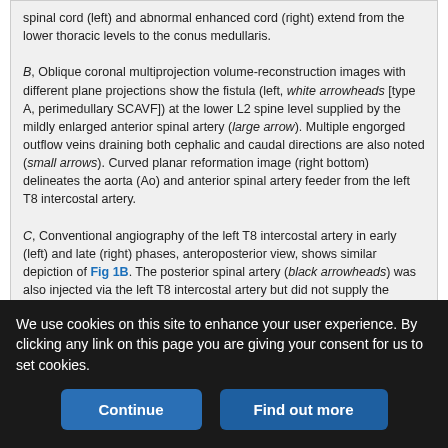spinal cord (left) and abnormal enhanced cord (right) extend from the lower thoracic levels to the conus medullaris. B, Oblique coronal multiprojection volume-reconstruction images with different plane projections show the fistula (left, white arrowheads [type A, perimedullary SCAVF]) at the lower L2 spine level supplied by the mildly enlarged anterior spinal artery (large arrow). Multiple engorged outflow veins draining both cephalic and caudal directions are also noted (small arrows). Curved planar reformation image (right bottom) delineates the aorta (Ao) and anterior spinal artery feeder from the left T8 intercostal artery. C, Conventional angiography of the left T8 intercostal artery in early (left) and late (right) phases, anteroposterior view, shows similar depiction of Fig 1B. The posterior spinal artery (black arrowheads) was also injected via the left T8 intercostal artery but did not supply the fistula.
Many engorged outflow drainage veins also were noted (Fig 1B).
Multiple selective catheter angiographic injections were performed,
and only the left T8 intercostal artery injection showed a type A
We use cookies on this site to enhance your user experience. By clicking any link on this page you are giving your consent for us to set cookies.